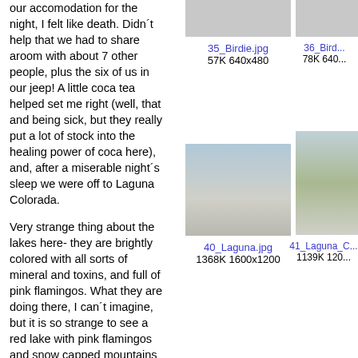our accomodation for the night, I felt like death. Didn´t help that we had to share aroom with about 7 other people, plus the six of us in our jeep! A little coca tea helped set me right (well, that and being sick, but they really put a lot of stock into the healing power of coca here), and, after a miserable night´s sleep we were off to Laguna Colorada.
[Figure (photo): Close-up photo of what appears to be a bird, partially visible, brownish tones - top of page right column]
35_Birdie.jpg
57K 640x480
[Figure (photo): Partial photo visible at top right edge of page - 36_Bird]
36_Bird...
78K 640...
Very strange thing about the lakes here- they are brightly colored with all sorts of mineral and toxins, and full of pink flamingos. What they are doing there, I can´t imagine, but it is so strange to see a red lake with pink flamingos and snow capped mountains in the background.
[Figure (photo): Wide landscape photo of Laguna Colorada salt flat with cloudy sky and distant mountains]
40_Laguna.jpg
1368K 1600x1200
[Figure (photo): Partial photo of Laguna Colorada area with mountain visible - 41_Laguna_C]
41_Laguna_C...
1139K 120...
The real excitement that day came when the other van we were travelling with broke down in the middle of a salar (salt flat). Because it had been raining, we were driving through inches of mud covered with inches of water.
The guys in front tried so many